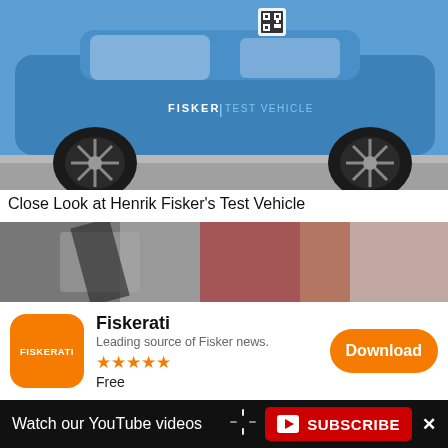[Figure (photo): Blue Fisker electric SUV test vehicle parked on a street, side view showing 'FISKER TEST VEHICLE' decal and large black alloy wheels]
Close Look at Henrik Fisker's Test Vehicle
[Figure (photo): Blurry close-up photo, possibly interior or street scene with red and reflective elements]
[Figure (infographic): App store banner for Fiskerati app: orange app icon with 'FISKERATI' text, app name 'Fiskerati', description 'Leading source of Fisker news.', 5 star rating, Free, and orange Download button]
[Figure (screenshot): YouTube subscribe banner on black background: 'Watch our YouTube videos' text with red SUBSCRIBE button featuring play icon, spinner dots decoration, and X close button]